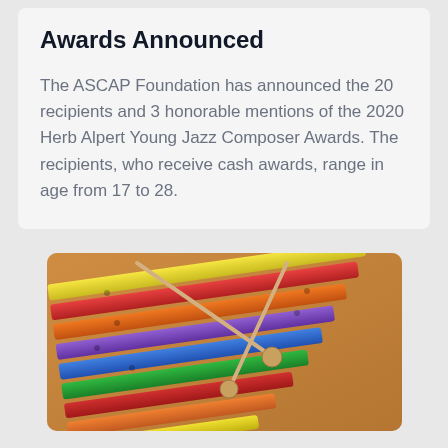Awards Announced
The ASCAP Foundation has announced the 20 recipients and 3 honorable mentions of the 2020 Herb Alpert Young Jazz Composer Awards. The recipients, who receive cash awards, range in age from 17 to 28.
[Figure (photo): A colorful xylophone with rainbow-colored bars (yellow, red, orange, purple, blue, green, red, orange, yellow) and two mallets resting on it, photographed from above at an angle on a wooden surface.]